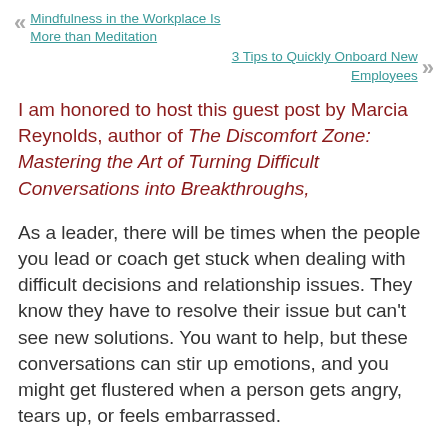« Mindfulness in the Workplace Is More than Meditation
3 Tips to Quickly Onboard New Employees »
I am honored to host this guest post by Marcia Reynolds, author of The Discomfort Zone: Mastering the Art of Turning Difficult Conversations into Breakthroughs,
As a leader, there will be times when the people you lead or coach get stuck when dealing with difficult decisions and relationship issues. They know they have to resolve their issue but can't see new solutions. You want to help, but these conversations can stir up emotions, and you might get flustered when a person gets angry, tears up, or feels embarrassed.